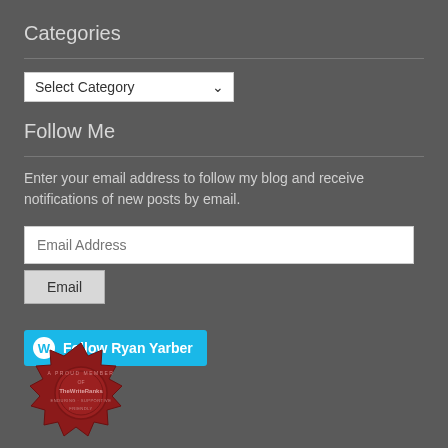Categories
[Figure (screenshot): A dropdown select widget with 'Select Category' and a chevron arrow]
Follow Me
Enter your email address to follow my blog and receive notifications of new posts by email.
[Figure (screenshot): Email address input field placeholder text 'Email Address']
[Figure (screenshot): Email submit button labeled 'Email']
[Figure (screenshot): WordPress follow button: 'Follow Ryan Yarber' with WordPress logo on cyan background]
[Figure (illustration): A red wax seal stamp reading 'A PROUD MEMBER OF TheWriteRanks ENDURING SUPPORTIVE FRIENDLY']